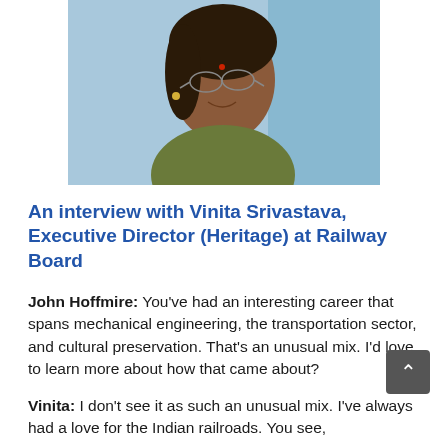[Figure (photo): Portrait photo of Vinita Srivastava, a woman wearing glasses, a green saree, and a bindi, photographed against a light blue background.]
An interview with Vinita Srivastava, Executive Director (Heritage) at Railway Board
John Hoffmire: You've had an interesting career that spans mechanical engineering, the transportation sector, and cultural preservation. That's an unusual mix. I'd love to learn more about how that came about?
Vinita: I don't see it as such an unusual mix. I've always had a love for the Indian railroads. You see,